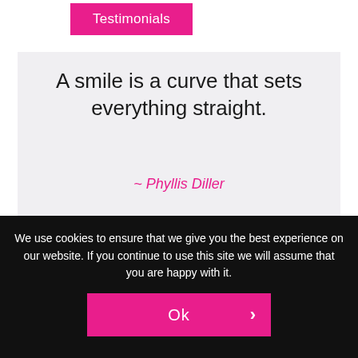Testimonials
A smile is a curve that sets everything straight.
~ Phyllis Diller
Invisible braces
Testimonials
For me?
Practitioners
How to get?
Contact
We use cookies to ensure that we give you the best experience on our website. If you continue to use this site we will assume that you are happy with it.
Ok >